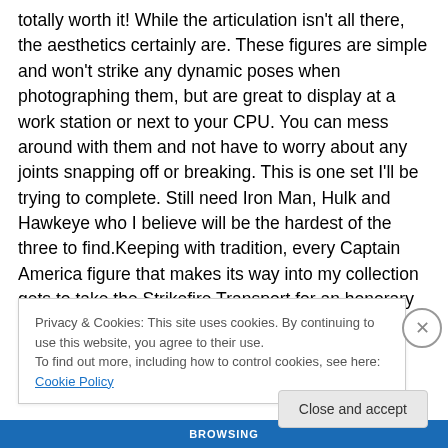totally worth it! While the articulation isn't all there, the aesthetics certainly are. These figures are simple and won't strike any dynamic poses when photographing them, but are great to display at a work station or next to your CPU. You can mess around with them and not have to worry about any joints snapping off or breaking. This is one set I'll be trying to complete. Still need Iron Man, Hulk and Hawkeye who I believe will be the hardest of the three to find.Keeping with tradition, every Captain America figure that makes its way into my collection gets to take the Strikefire Transport for an honorary spin.Enjoy the pics!
Privacy & Cookies: This site uses cookies. By continuing to use this website, you agree to their use.
To find out more, including how to control cookies, see here: Cookie Policy
BROWSING